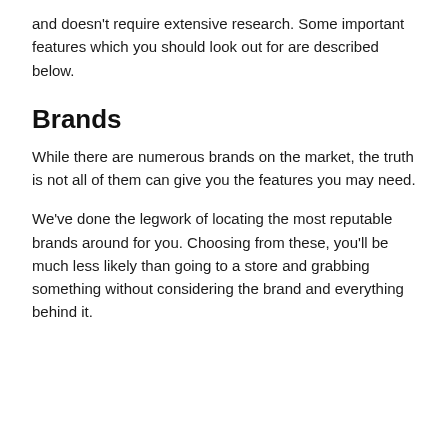and doesn't require extensive research. Some important features which you should look out for are described below.
Brands
While there are numerous brands on the market, the truth is not all of them can give you the features you may need.
We've done the legwork of locating the most reputable brands around for you. Choosing from these, you'll be much less likely than going to a store and grabbing something without considering the brand and everything behind it.